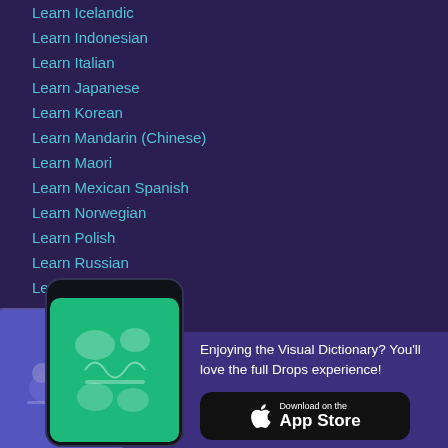Learn Icelandic
Learn Indonesian
Learn Italian
Learn Japanese
Learn Korean
Learn Mandarin (Chinese)
Learn Maori
Learn Mexican Spanish
Learn Norwegian
Learn Polish
Learn Russian
Learn Samoan
Learn Swedish
[Figure (screenshot): Two smartphone mockups showing the Drops app interface. The back phone shows a purple screen, the front phone shows a green screen with illustrated vocabulary items.]
Enjoying the Visual Dictionary? You'll love the full Drops experience!
[Figure (logo): Download on the App Store button (black rounded rectangle with Apple logo)]